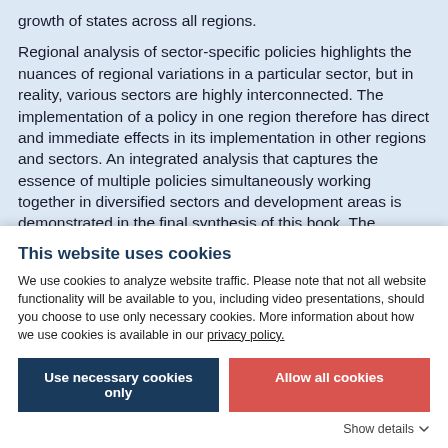growth of states across all regions.
Regional analysis of sector-specific policies highlights the nuances of regional variations in a particular sector, but in reality, various sectors are highly interconnected. The implementation of a policy in one region therefore has direct and immediate effects in its implementation in other regions and sectors. An integrated analysis that captures the essence of multiple policies simultaneously working together in diversified sectors and development areas is demonstrated in the final synthesis of this book. The comprehensiveness and granularity of the modelling
This website uses cookies
We use cookies to analyze website traffic. Please note that not all website functionality will be available to you, including video presentations, should you choose to use only necessary cookies. More information about how we use cookies is available in our privacy policy.
Use necessary cookies only
Allow all cookies
Show details